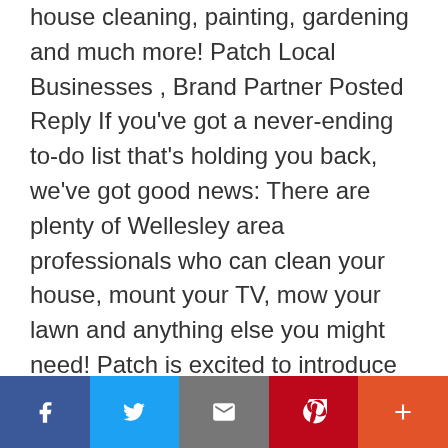house cleaning, painting, gardening and much more! Patch Local Businesses , Brand Partner Posted Reply If you've got a never-ending to-do list that's holding you back, we've got good news: There are plenty of Wellesley area professionals who can clean your house, mount your TV, mow your lawn and anything else you might need! Patch is excited to introduce you to Local Businesses , a new feature in your area where you can connect with top-rated local professionals to complete just about any home task — no matter the size! With Local Businesses , you can quickly search to find Wellesley area professionals who are ready and eager to help you tackle that to-do list. Select from
[Figure (other): Social sharing bar with five buttons: Facebook (dark blue, f icon), Twitter (light blue, bird icon), Email (grey, envelope icon), Pinterest (red, P icon), More (orange-red, plus icon)]